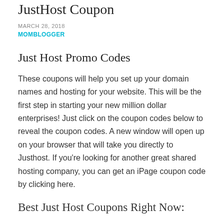JustHost Coupon
MARCH 28, 2018
MOMBLOGGER
Just Host Promo Codes
These coupons will help you set up your domain names and hosting for your website. This will be the first step in starting your new million dollar enterprises! Just click on the coupon codes below to reveal the coupon codes. A new window will open up on your browser that will take you directly to Justhost. If you're looking for another great shared hosting company, you can get an iPage coupon code by clicking here.
Best Just Host Coupons Right Now: